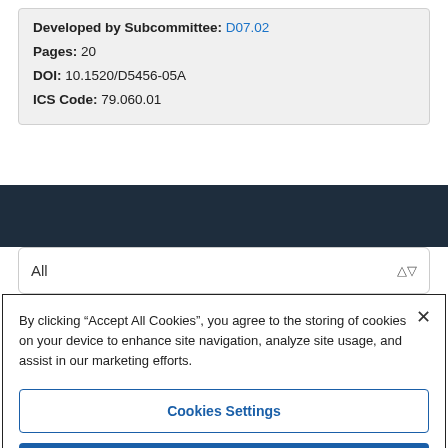Developed by Subcommittee: D07.02
Pages: 20
DOI: 10.1520/D5456-05A
ICS Code: 79.060.01
All
By clicking "Accept All Cookies", you agree to the storing of cookies on your device to enhance site navigation, analyze site usage, and assist in our marketing efforts.
Cookies Settings
Reject All